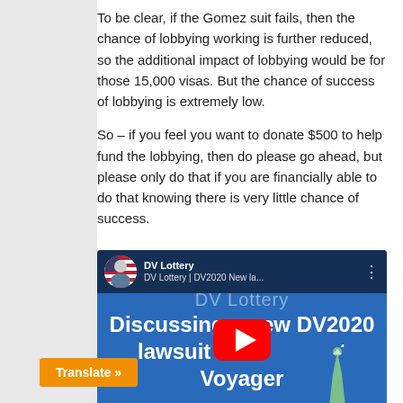To be clear, if the Gomez suit fails, then the chance of lobbying working is further reduced, so the additional impact of lobbying would be for those 15,000 visas. But the chance of success of lobbying is extremely low.
So – if you feel you want to donate $500 to help fund the lobbying, then do please go ahead, but please only do that if you are financially able to do that knowing there is very little chance of success.
[Figure (screenshot): YouTube video thumbnail for 'DV Lottery | DV2020 New la...' by DV Lottery channel. Shows text 'Discussing a new DV2020 lawsuit and Project Voyager' with YouTube play button overlay and Statue of Liberty image. BritSimonSays.com watermark.]